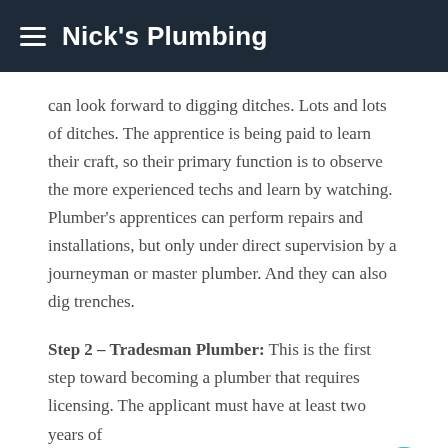Nick's Plumbing
can look forward to digging ditches. Lots and lots of ditches. The apprentice is being paid to learn their craft, so their primary function is to observe the more experienced techs and learn by watching. Plumber's apprentices can perform repairs and installations, but only under direct supervision by a journeyman or master plumber. And they can also dig trenches.
Step 2 – Tradesman Plumber: This is the first step toward becoming a plumber that requires licensing. The applicant must have at least two years of